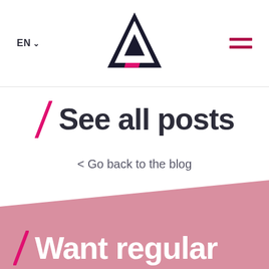EN  [logo]  [menu]
/ See all posts
< Go back to the blog
/ Want regular